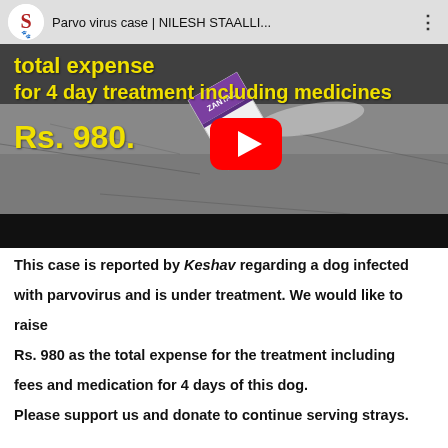[Figure (screenshot): YouTube video thumbnail showing a dog parvovirus case video titled 'Parvo virus case | NILESH STAALLI...' with yellow text overlay reading 'total expense for 4 day treatment including medicines Rs. 980.' A medicine box is visible on a stone floor. Red YouTube play button in center.]
This case is reported by Keshav regarding a dog infected with parvovirus and is under treatment. We would like to raise
Rs. 980 as the total expense for the treatment including fees and medication for 4 days of this dog.
Please support us and donate to continue serving strays.